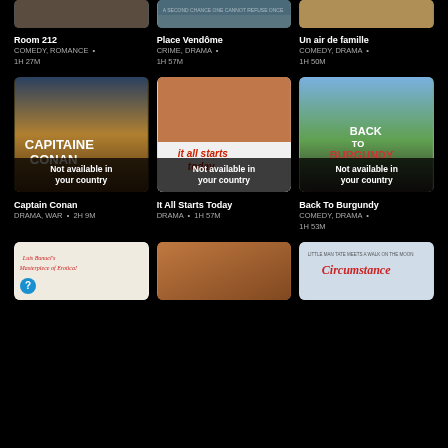[Figure (other): Room 212 movie poster (partial, top cropped)]
Room 212
COMEDY, ROMANCE • 1H 27M
[Figure (other): Place Vendôme movie poster (partial, top cropped)]
Place Vendôme
CRIME, DRAMA • 1H 57M
[Figure (other): Un air de famille movie poster (partial, top cropped)]
Un air de famille
COMEDY, DRAMA • 1H 50M
[Figure (other): Captain Conan movie poster with 'Not available in your country' overlay]
Captain Conan
DRAMA, WAR • 2H 9M
[Figure (other): It All Starts Today movie poster with 'Not available in your country' overlay]
It All Starts Today
DRAMA • 1H 57M
[Figure (other): Back To Burgundy movie poster with 'Not available in your country' overlay]
Back To Burgundy
COMEDY, DRAMA • 1H 53M
[Figure (other): Luis Bunuel's Masterpiece of Erotica movie poster (partial, bottom cropped)]
[Figure (other): Unknown movie poster (partial, bottom cropped)]
[Figure (other): Circumstance movie poster (partial, bottom cropped)]